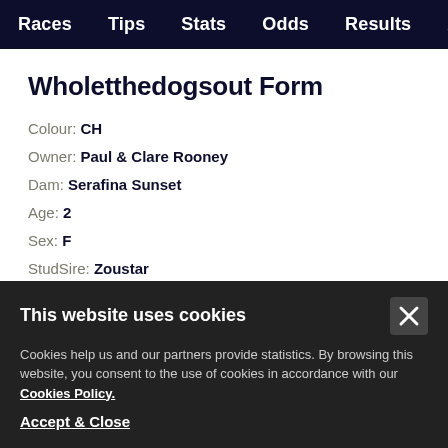Races  Tips  Stats  Odds  Results  Article
Wholetthedogsout Form
Colour: CH
Owner: Paul & Clare Rooney
Dam: Serafina Sunset
Age: 2
Sex: F
StudSire: Zoustar
Trainer: David Evans
This website uses cookies
Cookies help us and our partners provide statistics. By browsing this website, you consent to the use of cookies in accordance with our Cookies Policy.
Accept & Close